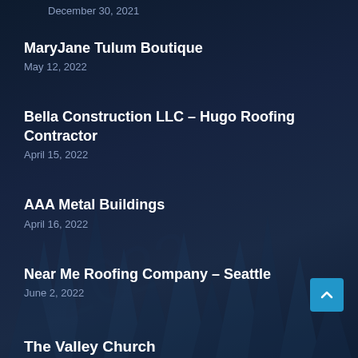December 30, 2021
MaryJane Tulum Boutique
May 12, 2022
Bella Construction LLC – Hugo Roofing Contractor
April 15, 2022
AAA Metal Buildings
April 16, 2022
Near Me Roofing Company – Seattle
June 2, 2022
The Valley Church